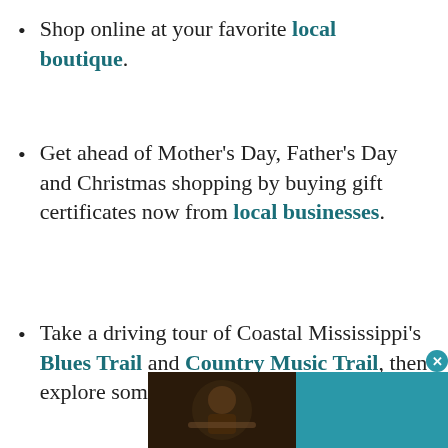Shop online at your favorite local boutique.
Get ahead of Mother's Day, Father's Day and Christmas shopping by buying gift certificates now from local businesses.
Take a driving tour of Coastal Mississippi's Blues Trail and Country Music Trail, then explore some of the region's public art.
[Figure (other): Advertisement overlay: photo of a person playing music on left, teal background with text 'Live Music Every Week at Hard Rock Café in Biloxi! COME VISIT US >' on right, with close (X) button]